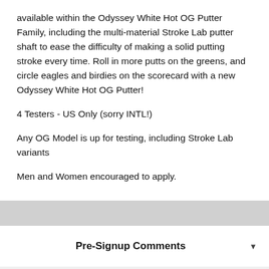available within the Odyssey White Hot OG Putter Family, including the multi-material Stroke Lab putter shaft to ease the difficulty of making a solid putting stroke every time. Roll in more putts on the greens, and circle eagles and birdies on the scorecard with a new Odyssey White Hot OG Putter!
4 Testers - US Only (sorry INTL!)
Any OG Model is up for testing, including Stroke Lab variants
Men and Women encouraged to apply.
Pre-Signup Comments
129 COMMENTS